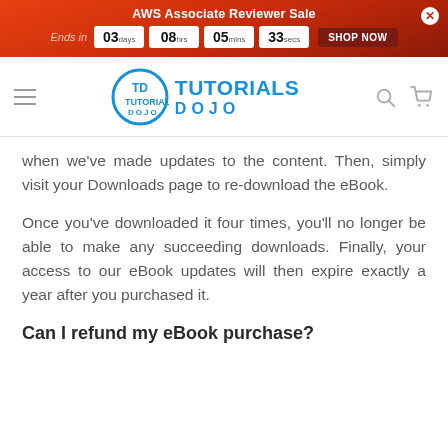AWS Associate Reviewer Sale | Ends in 03 days 08 hrs 05 mins 33 secs | SHOP NOW
[Figure (logo): Tutorials Dojo logo with TD monogram in a circle and navigation bar]
when we've made updates to the content. Then, simply visit your Downloads page to re-download the eBook.
Once you've downloaded it four times, you'll no longer be able to make any succeeding downloads. Finally, your access to our eBook updates will then expire exactly a year after you purchased it.
Can I refund my eBook purchase?